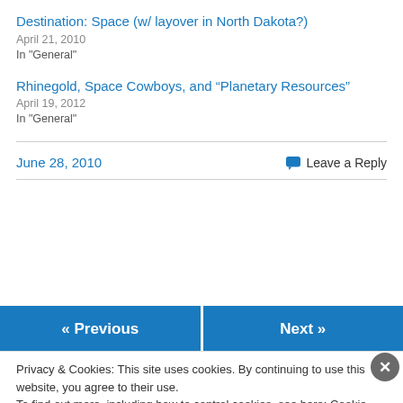Destination: Space (w/ layover in North Dakota?)
April 21, 2010
In "General"
Rhinegold, Space Cowboys, and “Planetary Resources”
April 19, 2012
In "General"
June 28, 2010
Leave a Reply
« Previous
Next »
Privacy & Cookies: This site uses cookies. By continuing to use this website, you agree to their use.
To find out more, including how to control cookies, see here: Cookie Policy
Close and accept